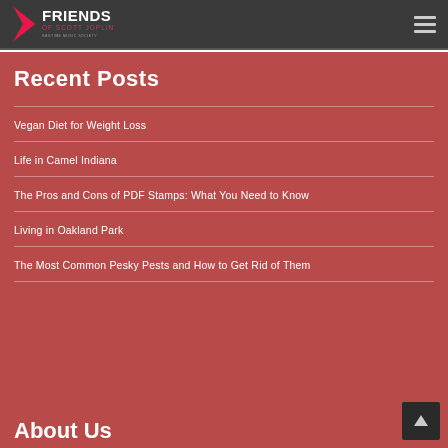Friends of Scott Joplin
Recent Posts
Vegan Diet for Weight Loss
Life in Camel Indiana
The Pros and Cons of PDF Stamps: What You Need to Know
Living in Oakland Park
The Most Common Pesky Pests and How to Get Rid of Them
About Us